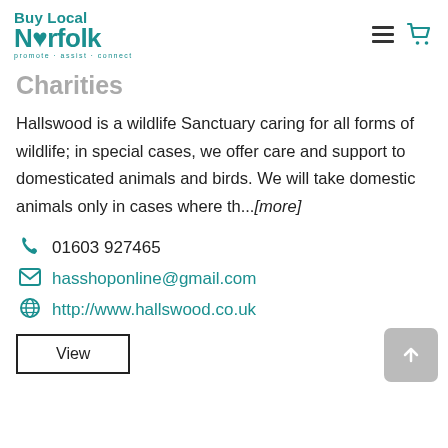Buy Local Norfolk — promote · assist · connect
Charities
Hallswood is a wildlife Sanctuary caring for all forms of wildlife; in special cases, we offer care and support to domesticated animals and birds. We will take domestic animals only in cases where th...[more]
01603 927465
hasshoponline@gmail.com
http://www.hallswood.co.uk
View